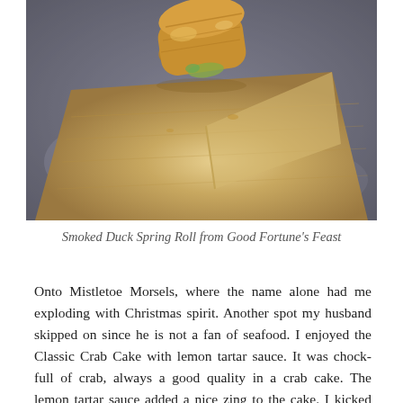[Figure (photo): Close-up photo of a Smoked Duck Spring Roll on a wooden serving board against a dark stone background]
Smoked Duck Spring Roll from Good Fortune's Feast
Onto Mistletoe Morsels, where the name alone had me exploding with Christmas spirit. Another spot my husband skipped on since he is not a fan of seafood. I enjoyed the Classic Crab Cake with lemon tartar sauce. It was chock-full of crab, always a good quality in a crab cake. The lemon tartar sauce added a nice zing to the cake. I kicked myself the next day for not ordering the Holiday Eggnog Cocktail with whipped cream and nutmeg dusting. I was so focused